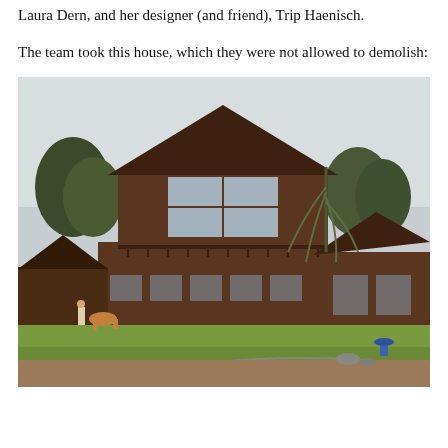Laura Dern, and her designer (and friend), Trip Haenisch.
The team took this house, which they were not allowed to demolish:
[Figure (photo): Exterior view of a large two-story rustic brown wooden house with a steeply gabled roof and large windows. A smaller brown structure is to the right. Trees and shrubs surround the buildings. A green lawn and dry dirt/gravel area are in the foreground, with a garden hose visible on the ground. A person and a dog or animal are visible on the left side near the main structure. Overcast sky.]